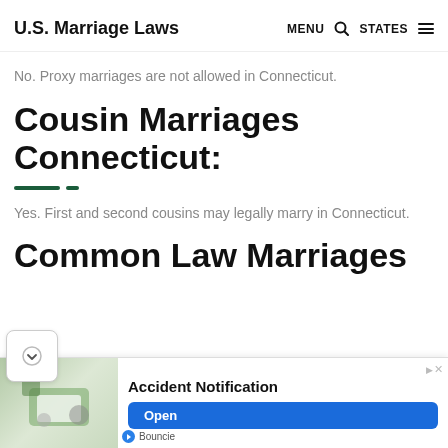U.S. Marriage Laws  MENU  🔍  STATES  ☰
No. Proxy marriages are not allowed in Connecticut.
Cousin Marriages Connecticut:
Yes. First and second cousins may legally marry in Connecticut.
Common Law Marriages
[Figure (other): Advertisement banner for 'Accident Notification' by Bouncie, with an image of a device and a blue 'Open' button.]